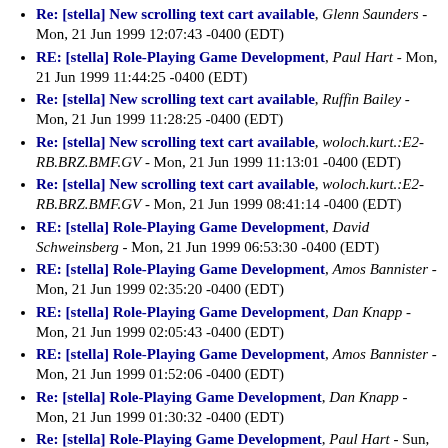Re: [stella] New scrolling text cart available, Glenn Saunders - Mon, 21 Jun 1999 12:07:43 -0400 (EDT)
RE: [stella] Role-Playing Game Development, Paul Hart - Mon, 21 Jun 1999 11:44:25 -0400 (EDT)
Re: [stella] New scrolling text cart available, Ruffin Bailey - Mon, 21 Jun 1999 11:28:25 -0400 (EDT)
Re: [stella] New scrolling text cart available, woloch.kurt.:E2-RB.BRZ.BMF.GV - Mon, 21 Jun 1999 11:13:01 -0400 (EDT)
Re: [stella] New scrolling text cart available, woloch.kurt.:E2-RB.BRZ.BMF.GV - Mon, 21 Jun 1999 08:41:14 -0400 (EDT)
RE: [stella] Role-Playing Game Development, David Schweinsberg - Mon, 21 Jun 1999 06:53:30 -0400 (EDT)
RE: [stella] Role-Playing Game Development, Amos Bannister - Mon, 21 Jun 1999 02:35:20 -0400 (EDT)
RE: [stella] Role-Playing Game Development, Dan Knapp - Mon, 21 Jun 1999 02:05:43 -0400 (EDT)
RE: [stella] Role-Playing Game Development, Amos Bannister - Mon, 21 Jun 1999 01:52:06 -0400 (EDT)
Re: [stella] Role-Playing Game Development, Dan Knapp - Mon, 21 Jun 1999 01:30:32 -0400 (EDT)
Re: [stella] Role-Playing Game Development, Paul Hart - Sun, 20 Jun 1999 23:55:23 -0400 (EDT)
Re: [stella] Role-Playing Game Development, Erik